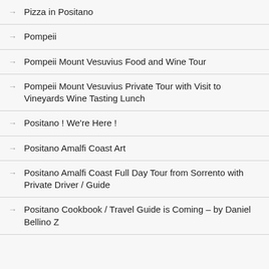Pizza in Positano
Pompeii
Pompeii Mount Vesuvius Food and Wine Tour
Pompeii Mount Vesuvius Private Tour with Visit to Vineyards Wine Tasting Lunch
Positano ! We're Here !
Positano Amalfi Coast Art
Positano Amalfi Coast Full Day Tour from Sorrento with Private Driver / Guide
Positano Cookbook / Travel Guide is Coming – by Daniel Bellino Z